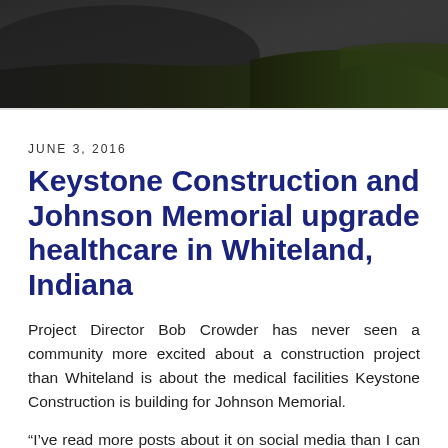[Figure (photo): Dark outdoor landscape photo with grass and hills in dim lighting, shown as a horizontal strip at the top of the page]
JUNE 3, 2016
Keystone Construction and Johnson Memorial upgrade healthcare in Whiteland, Indiana
Project Director Bob Crowder has never seen a community more excited about a construction project than Whiteland is about the medical facilities Keystone Construction is building for Johnson Memorial.
“I’ve read more posts about it on social media than I can count,” shared Bob.
Johnson Memorial Whiteland will replace an